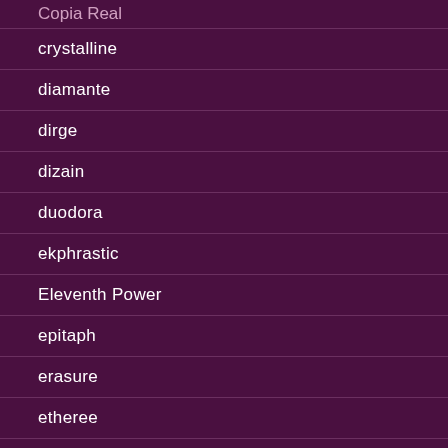Copia Real
crystalline
diamante
dirge
dizain
duodora
ekphrastic
Eleventh Power
epitaph
erasure
etheree
fable